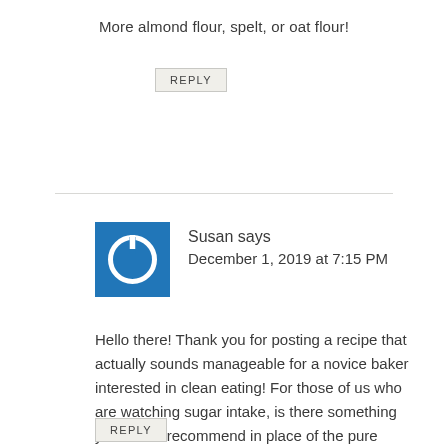More almond flour, spelt, or oat flour!
REPLY
[Figure (other): Blue square avatar with white power/circle icon for user Susan]
Susan says
December 1, 2019 at 7:15 PM
Hello there! Thank you for posting a recipe that actually sounds manageable for a novice baker interested in clean eating! For those of us who are watching sugar intake, is there something you would recommend in place of the pure maple syrup?
REPLY